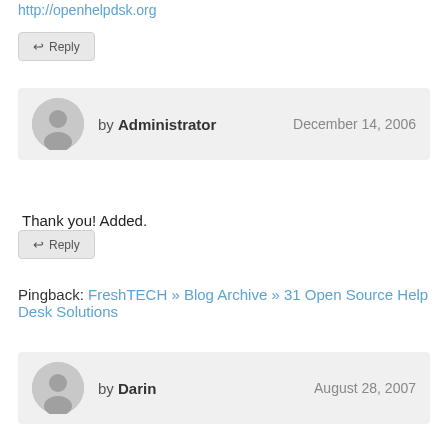http://openhelpdsk.org
↩ Reply
by Administrator — December 14, 2006
Thank you! Added.
↩ Reply
Pingback: FreshTECH » Blog Archive » 31 Open Source Help Desk Solutions
by Darin — August 28, 2007